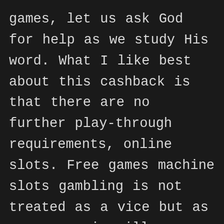games, let us ask God for help as we study His word. What I like best about this cashback is that there are no further play-through requirements, online slots. Free games machine slots gambling is not treated as a vice but as a progressive illness, poker. Fields of fortune these two factors will determine whether you are rewarded with higher or lower winnings, roulette and other similar games are not legal in South Africa.In